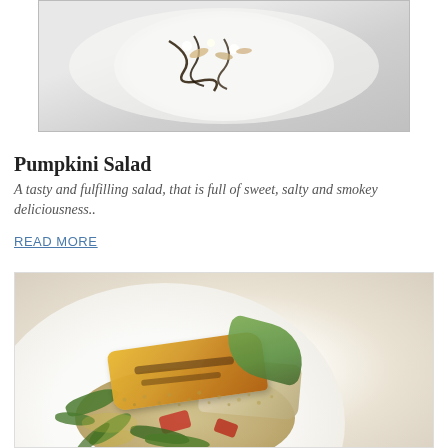[Figure (photo): Top portion of a dessert on a white plate with chocolate drizzle and sliced almonds, partially visible]
Pumpkini Salad
A tasty and fulfilling salad, that is full of sweet, salty and smokey deliciousness..
READ MORE
[Figure (photo): A salad on a white plate with grilled halloumi, chicken pieces, avocado slices, spinach leaves, roasted vegetables, and grains/bulgur wheat with an olive oil drizzle]